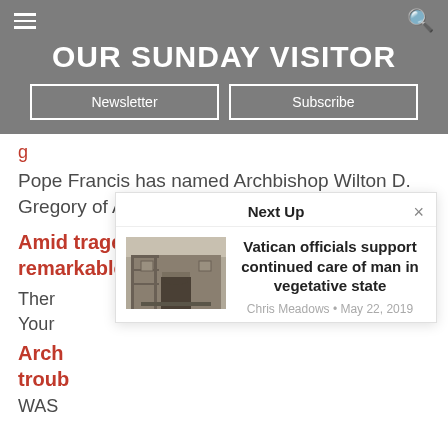OUR SUNDAY VISITOR
Newsletter | Subscribe
Pope Francis has named Archbishop Wilton D. Gregory of Atlanta as the new archbishop of…
Amid tragedy, couple displays a remarkable faith in God
Ther Your
Arch troub
WAS
[Figure (screenshot): Next Up popup showing article: Vatican officials support continued care of man in vegetative state, by Chris Meadows, May 22, 2019, with a building photo thumbnail]